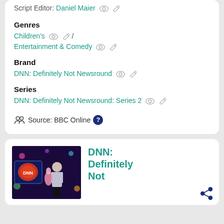Script Editor: Daniel Maier
Genres
Children's / Entertainment & Comedy
Brand
DNN: Definitely Not Newsround
Series
DNN: Definitely Not Newsround: Series 2
Source: BBC Online
[Figure (photo): Thumbnail image for DNN: Definitely Not Newsround, showing a presenter on a colourful TV set with the DNN logo visible]
DNN: Definitely Not